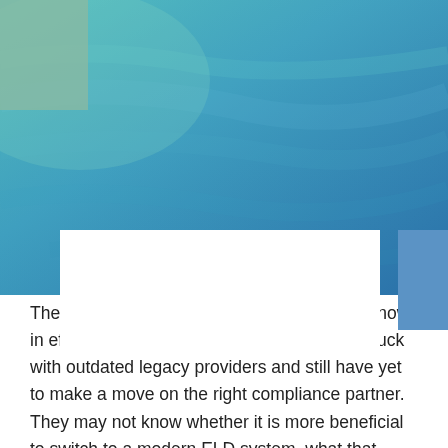[Figure (photo): Aerial or overhead photo of blue-green water/ocean surface with light reflections, serving as a decorative hero banner. A muted olive-green rectangle overlays the top-left corner.]
The ELD mandate final compliance phase is now in effect, but many trucking companies are stuck with outdated legacy providers and still have yet to make a move on the right compliance partner. They may not know whether it is more beneficial to switch to a modern ELD system, what that means for operations, or how they can improve their company. The right electronic